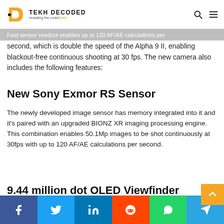TEKH DECODED — revealing the coded tekh
Fast sensor readout enables up to 120 AF/AE calculations per second, which is double the speed of the Alpha 9 II, enabling blackout-free continuous shooting at 30 fps. The new camera also includes the following features:
New Sony Exmor RS Sensor
The newly developed image sensor has memory integrated into it and it's paired with an upgraded BIONZ XR imaging processing engine. This combination enables 50.1Mp images to be shot continuously at 30fps with up to 120 AF/AE calculations per second.
9.44 million dot OLED Viewfinder
Share buttons: Facebook, Twitter, LinkedIn, Reddit, WhatsApp, Telegram